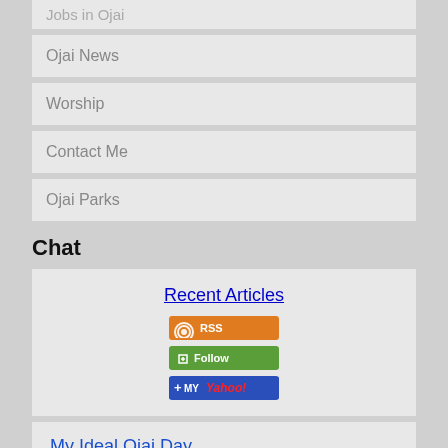Jobs in Ojai
Ojai News
Worship
Contact Me
Ojai Parks
Chat
Recent Articles
[Figure (other): RSS feed button, Follow button, Add to My Yahoo button]
My Ideal Ojai Day
Jan 11, 20 05:57 PM
[Figure (photo): Outdoor nature/tree photo]